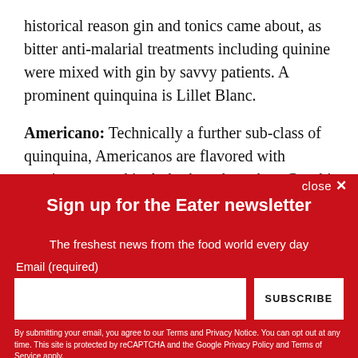historical reason gin and tonics came about, as bitter anti-malarial treatments including quinine were mixed with gin by savvy patients. A prominent quinquina is Lillet Blanc.
Americano: Technically a further sub-class of quinquina, Americanos are flavored with gentian root and includes brands such as Cocchi Americano. Note that Americano refers to amer, as in the French word for bitter, not
close ✕
Sign up for the Eater newsletter
The freshest news from the food world every day
Email (required)
SUBSCRIBE
By submitting your email, you agree to our Terms and Privacy Notice. You can opt out at any time. This site is protected by reCAPTCHA and the Google Privacy Policy and Terms of Service apply.